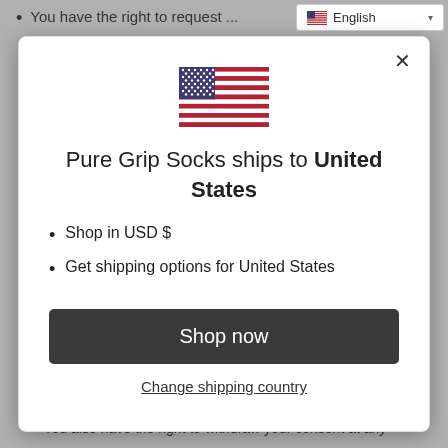You have the right to request ...
[Figure (screenshot): A popup modal dialog for a shipping country selector on the Pure Grip Socks website, showing a US flag, heading, bullet points for USD and US shipping, a 'Shop now' button, and a 'Change shipping country' link.]
readable and commonly used format.
You also have the right to withdraw your consent at any